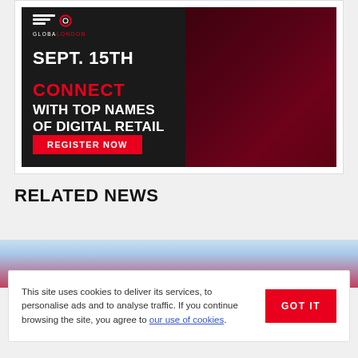[Figure (infographic): ECommerce event advertisement banner. Dark background with crowd image on right. Text: GLOBALONDON, SEPT. 15TH, CONNECT WITH TOP NAMES OF DIGITAL RETAIL. Red REGISTER NOW button.]
RELATED NEWS
This site uses cookies to deliver its services, to personalise ads and to analyse traffic. If you continue browsing the site, you agree to our use of cookies.